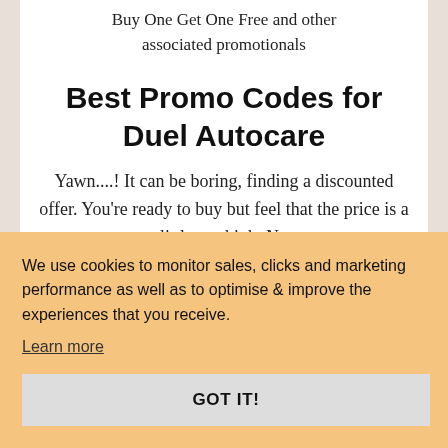Buy One Get One Free and other associated promotionals
Best Promo Codes for Duel Autocare
Yawn....! It can be boring, finding a discounted offer. You're ready to buy but feel that the price is a little too high. No
We use cookies to monitor sales, clicks and marketing performance as well as to optimise & improve the experiences that you receive.
Learn more
GOT IT!